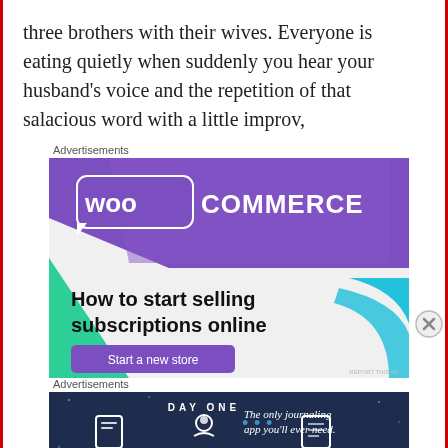three brothers with their wives. Everyone is eating quietly when suddenly you hear your husband's voice and the repetition of that salacious word with a little improv,
Advertisements
[Figure (illustration): WooCommerce advertisement: purple banner with WooCommerce logo, green triangle decoration, light blue curved shape, text 'How to start selling subscriptions online', purple 'Start a new store' button on light grey background]
Advertisements
[Figure (illustration): Day One journaling app advertisement: dark navy background with 'DAY ONE' text, three app icons (journal, person, checklist), text 'The only journaling app you'll ever need.']